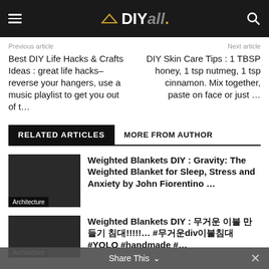DIYall.
Previous article
Next article
Best DIY Life Hacks & Crafts Ideas : great life hacks– reverse your hangers, use a music playlist to get you out of t…
DIY Skin Care Tips : 1 TBSP honey, 1 tsp nutmeg, 1 tsp cinnamon. Mix together, paste on face or just …
RELATED ARTICLES
MORE FROM AUTHOR
Weighted Blankets DIY : Gravity: The Weighted Blanket for Sleep, Stress and Anxiety by John Fiorentino …
Architecture
Weighted Blankets DIY : 무거운 이불 만들기 침대!!!!!… #무거운div이불침대 #YOLO #handmade #…
Architecture
Share This